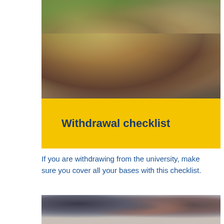[Figure (photo): Three students smiling and socializing outdoors with trees in the background]
Withdrawal checklist
If you are withdrawing from the university, make sure you cover all your bases with this checklist.
[Figure (photo): Students studying or writing at desks, viewed from the front in an indoor setting]